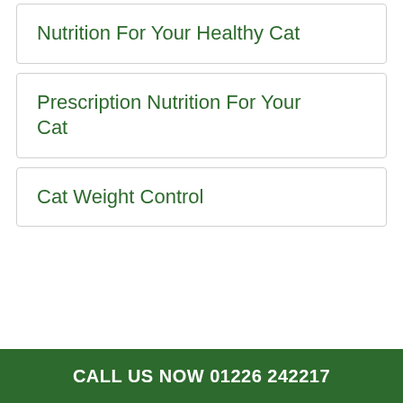Nutrition For Your Healthy Cat
Prescription Nutrition For Your Cat
Cat Weight Control
CALL US NOW 01226 242217